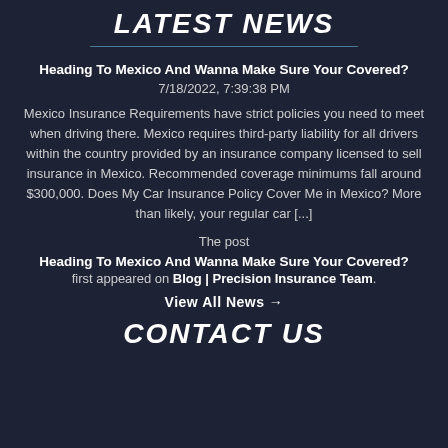LATEST NEWS
Heading To Mexico And Wanna Make Sure Your Covered?
7/18/2022, 7:39:38 PM
Mexico Insurance Requirements have strict policies you need to meet when driving there. Mexico requires third-party liability for all drivers within the country provided by an insurance company licensed to sell insurance in Mexico. Recommended coverage minimums fall around $300,000. Does My Car Insurance Policy Cover Me in Mexico? More than likely, your regular car [...]
The post
Heading To Mexico And Wanna Make Sure Your Covered?
first appeared on Blog | Precision Insurance Team.
View All News →
CONTACT US